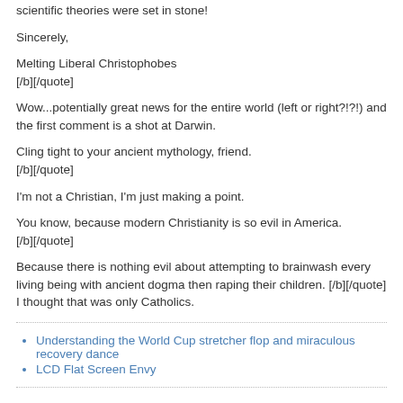Does this mean Darwin might have been wrong? We thought all scientific theories were set in stone!
Sincerely,

Melting Liberal Christophobes
[/b][/quote]
Wow...potentially great news for the entire world (left or right?!?!) and the first comment is a shot at Darwin.
Cling tight to your ancient mythology, friend.
[/b][/quote]
I'm not a Christian, I'm just making a point.
You know, because modern Christianity is so evil in America.
[/b][/quote]
Because there is nothing evil about attempting to brainwash every living being with ancient dogma then raping their children. [/b][/quote]
I thought that was only Catholics.
Understanding the World Cup stretcher flop and miraculous recovery dance
LCD Flat Screen Envy